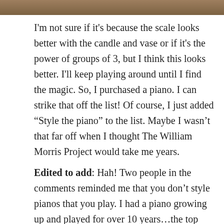[Figure (photo): Partial photo visible at the top of the page, appears to be an indoor scene with decorative objects.]
I'm not sure if it's because the scale looks better with the candle and vase or if it's the power of groups of 3, but I think this looks better. I'll keep playing around until I find the magic. So, I purchased a piano. I can strike that off the list! Of course, I just added “Style the piano” to the list. Maybe I wasn’t that far off when I thought The William Morris Project would take me years.
Edited to add: Hah! Two people in the comments reminded me that you don’t style pianos that you play. I had a piano growing up and played for over 10 years…the top was always kept clear. I’ve been